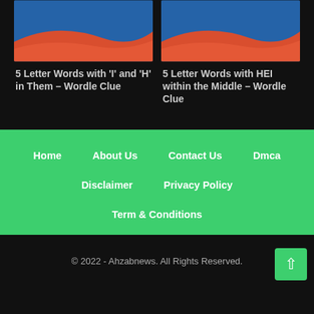[Figure (illustration): Card image with blue background and red curved wave at bottom - article thumbnail]
5 Letter Words with 'I' and 'H' in Them – Wordle Clue
[Figure (illustration): Card image with blue background and red curved wave at bottom - article thumbnail]
5 Letter Words with HEI within the Middle – Wordle Clue
Home
About Us
Contact Us
Dmca
Disclaimer
Privacy Policy
Term & Conditions
© 2022 - Ahzabnews. All Rights Reserved.